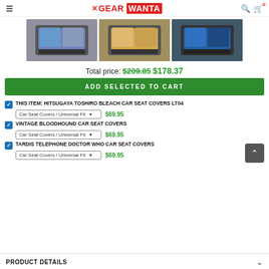GEAR WANTA
[Figure (photo): Three car seat cover product images side by side showing anime and dog themed designs on car seats]
Total price: $209.85 $178.37
ADD SELECTED TO CART
THIS ITEM: HITSUGAYA TOSHIRO BLEACH CAR SEAT COVERS LT04  Car Seat Covers / Universal Fit  $69.95
VINTAGE BLOODHOUND CAR SEAT COVERS  Car Seat Covers / Universal Fit  $69.95
TARDIS TELEPHONE DOCTOR WHO CAR SEAT COVERS  Car Seat Covers / Universal Fit  $69.95
PRODUCT DETAILS